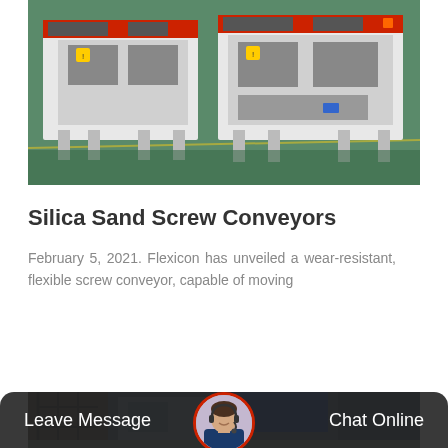[Figure (photo): Industrial jaw crusher machines in a factory setting, white and red machinery on green floor]
Silica Sand Screw Conveyors
February 5, 2021. Flexicon has unveiled a wear-resistant, flexible screw conveyor, capable of moving
Details+
[Figure (photo): Industrial factory setting with machinery, partially visible at bottom of page]
Leave Message
Chat Online